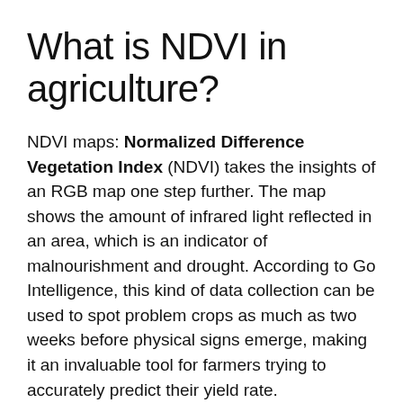What is NDVI in agriculture?
NDVI maps: Normalized Difference Vegetation Index (NDVI) takes the insights of an RGB map one step further. The map shows the amount of infrared light reflected in an area, which is an indicator of malnourishment and drought. According to Go Intelligence, this kind of data collection can be used to spot problem crops as much as two weeks before physical signs emerge, making it an invaluable tool for farmers trying to accurately predict their yield rate.
Does DJI use personal